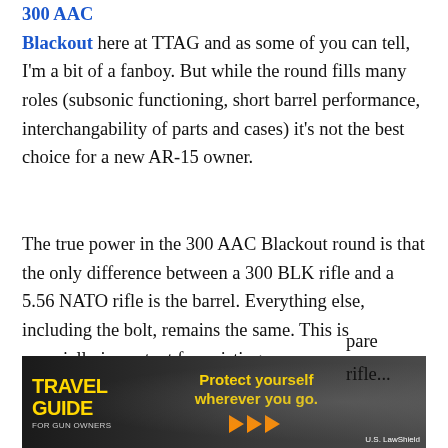300 AAC Blackout here at TTAG and as some of you can tell, I'm a bit of a fanboy. But while the round fills many roles (subsonic functioning, short barrel performance, interchangability of parts and cases) it's not the best choice for a new AR-15 owner.
The true power in the 300 AAC Blackout round is that the only difference between a 300 BLK rifle and a 5.56 NATO rifle is the barrel. Everything else, including the bolt, remains the same. This is especially important for existing
[Figure (other): Travel Guide for Gun Owners advertisement banner with tagline 'Protect yourself wherever you go.' and US LawShield branding with orange play arrows]
pare
rifle...